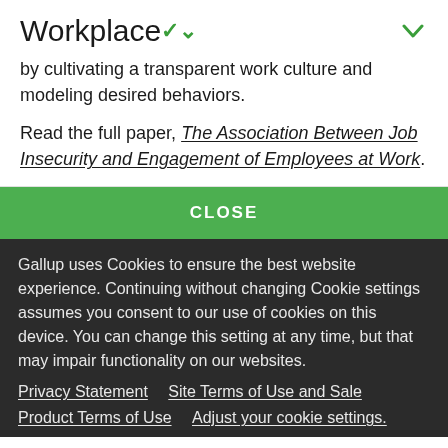Workplace
by cultivating a transparent work culture and modeling desired behaviors.
Read the full paper, The Association Between Job Insecurity and Engagement of Employees at Work.
CLOSE
Gallup uses Cookies to ensure the best website experience. Continuing without changing Cookie settings assumes you consent to our use of cookies on this device. You can change this setting at any time, but that may impair functionality on our websites.
Privacy Statement   Site Terms of Use and Sale
Product Terms of Use   Adjust your cookie settings.